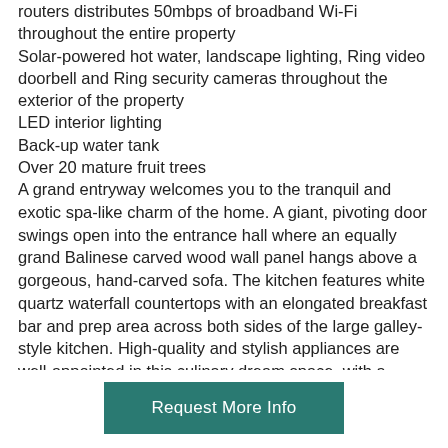routers distributes 50mbps of broadband Wi-Fi throughout the entire property
Solar-powered hot water, landscape lighting, Ring video doorbell and Ring security cameras throughout the exterior of the property
LED interior lighting
Back-up water tank
Over 20 mature fruit trees
A grand entryway welcomes you to the tranquil and exotic spa-like charm of the home. A giant, pivoting door swings open into the entrance hall where an equally grand Balinese carved wood wall panel hangs above a gorgeous, hand-carved sofa. The kitchen features white quartz waterfall countertops with an elongated breakfast bar and prep area across both sides of the large galley-style kitchen. High-quality and stylish appliances are well-appointed in this culinary dream space, with a spacious LG Smart Think LC fridge and Frigidaire Gallery double electric wall oven, both fitted perfectly into the custom carpentry with loads of storage including a spacious walk-in pantry with wine refrigerator. In the dining area there's a large glass dining table with 8 classic Eames dining chairs. A few steps away is an ample lounge corner with wall-mounted TV and additional luxurious sofas positioned to
Request More Info